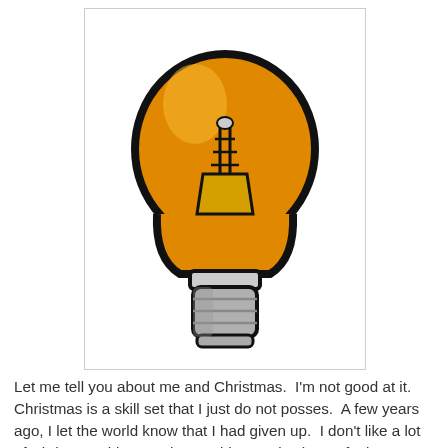[Figure (illustration): Cartoon-style illustration of an incandescent light bulb with an orange/amber glass globe, black outline, visible filament inside, and a grey screw base, on a white background inside a light grey bordered rectangle.]
Let me tell you about me and Christmas.  I'm not good at it.  Christmas is a skill set that I just do not posses.  A few years ago, I let the world know that I had given up.  I don't like a lot of Christmas things and I am old enough where I feel I no longer have to pretend.